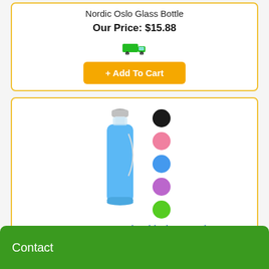Nordic Oslo Glass Bottle
Our Price: $15.88
[Figure (illustration): Green delivery truck icon]
+ Add To Cart
[Figure (photo): 18oz Geo Hot and Cold Glass Bottle with blue silicone sleeve and metal cap, shown with five color swatch circles: black, pink, blue, purple, green]
18oz Geo Hot and Cold Glass Bottle
18oz glass water bottle
Our Price: $15.88
Contact